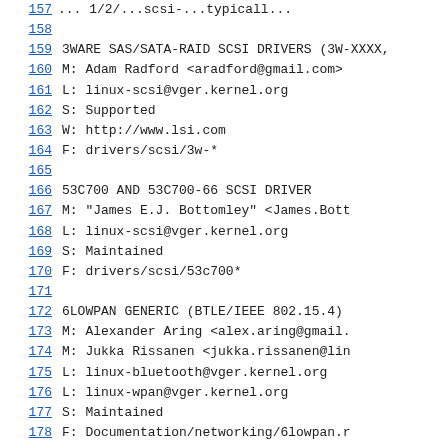157   ...  1/20/20/...scsi-...typicall...
158
159   3WARE SAS/SATA-RAID SCSI DRIVERS (3W-XXXX,
160   M:        Adam Radford <aradford@gmail.com>
161   L:        linux-scsi@vger.kernel.org
162   S:        Supported
163   W:        http://www.lsi.com
164   F:        drivers/scsi/3w-*
165
166   53C700 AND 53C700-66 SCSI DRIVER
167   M:        "James E.J. Bottomley" <James.Bott
168   L:        linux-scsi@vger.kernel.org
169   S:        Maintained
170   F:        drivers/scsi/53c700*
171
172   6LOWPAN GENERIC (BTLE/IEEE 802.15.4)
173   M:        Alexander Aring <alex.aring@gmail.
174   M:        Jukka Rissanen <jukka.rissanen@lin
175   L:        linux-bluetooth@vger.kernel.org
176   L:        linux-wpan@vger.kernel.org
177   S:        Maintained
178   F:        Documentation/networking/6lowpan.r